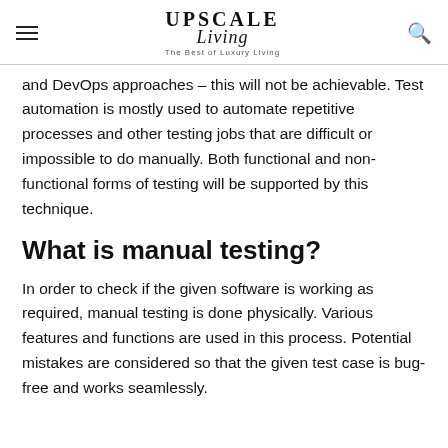Upscale Living — The Best of Luxury Living
and DevOps approaches – this will not be achievable. Test automation is mostly used to automate repetitive processes and other testing jobs that are difficult or impossible to do manually. Both functional and non-functional forms of testing will be supported by this technique.
What is manual testing?
In order to check if the given software is working as required, manual testing is done physically. Various features and functions are used in this process. Potential mistakes are considered so that the given test case is bug-free and works seamlessly.